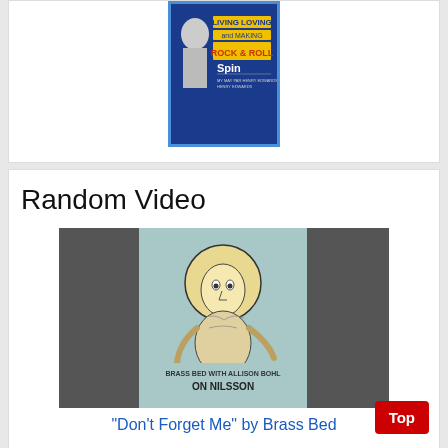[Figure (photo): Magazine cover with blue border showing Spin magazine with text 'LIVING LOVING and MAKING ROCK & ROLL']
Random Video
[Figure (screenshot): Video thumbnail for 'Don't Forget Me' by Brass Bed - Brass Bed with Allison Bohl on Nilsson, showing illustrated figure with wild hair]
"Don't Forget Me" by Brass Bed